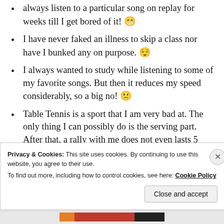I always listen to a particular song on replay for weeks till I get bored of it! 😁
I have never faked an illness to skip a class nor have I bunked any on purpose. 😌
I always wanted to study while listening to some of my favorite songs. But then it reduces my speed considerably, so a big no! 😕
Table Tennis is a sport that I am very bad at. The only thing I can possibly do is the serving part. After that, a rally with me does not even lasts 5 shots! 🤣
Privacy & Cookies: This site uses cookies. By continuing to use this website, you agree to their use. To find out more, including how to control cookies, see here: Cookie Policy
Close and accept